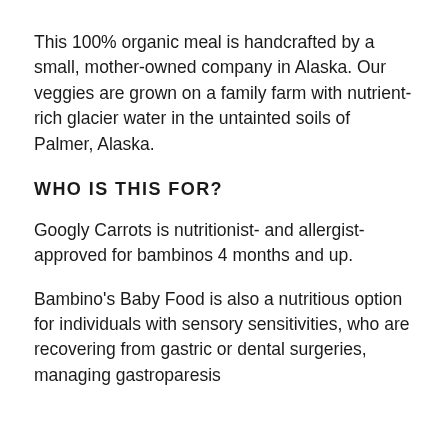This 100% organic meal is handcrafted by a small, mother-owned company in Alaska. Our veggies are grown on a family farm with nutrient-rich glacier water in the untainted soils of Palmer, Alaska.
WHO IS THIS FOR?
Googly Carrots is nutritionist- and allergist-approved for bambinos 4 months and up.
Bambino's Baby Food is also a nutritious option for individuals with sensory sensitivities, who are recovering from gastric or dental surgeries, managing gastroparesis